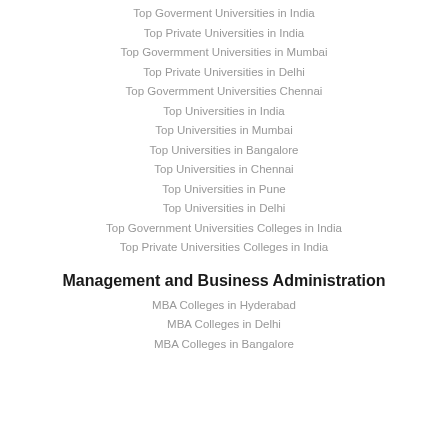Top Goverment Universities in India
Top Private Universities in India
Top Govermment Universities in Mumbai
Top Private Universities in Delhi
Top Govermment Universities Chennai
Top Universities in India
Top Universities in Mumbai
Top Universities in Bangalore
Top Universities in Chennai
Top Universities in Pune
Top Universities in Delhi
Top Government Universities Colleges in India
Top Private Universities Colleges in India
Management and Business Administration
MBA Colleges in Hyderabad
MBA Colleges in Delhi
MBA Colleges in Bangalore